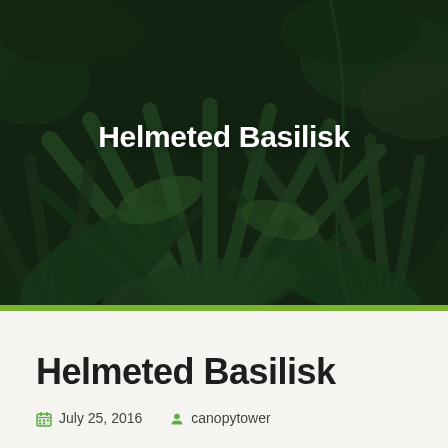[Figure (photo): Dense tropical green foliage with palm fronds and jungle leaves, dark green tones, used as hero background image]
Helmeted Basilisk
Helmeted Basilisk
July 25, 2016   canopytower